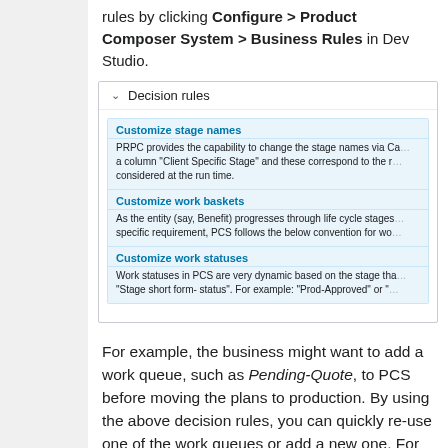rules by clicking Configure > Product Composer System > Business Rules in Dev Studio.
[Figure (screenshot): Screenshot of a Decision rules UI panel with three collapsible sections: Customize stage names, Customize work baskets, and Customize work statuses, each with descriptive text about PRPC/PCS configuration options.]
For example, the business might want to add a work queue, such as Pending-Quote, to PCS before moving the plans to production. By using the above decision rules, you can quickly re-use one of the work queues or add a new one. For more details about updating